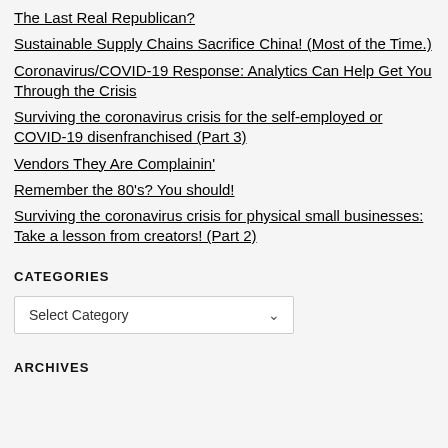The Last Real Republican?
Sustainable Supply Chains Sacrifice China! (Most of the Time.)
Coronavirus/COVID-19 Response: Analytics Can Help Get You Through the Crisis
Surviving the coronavirus crisis for the self-employed or COVID-19 disenfranchised (Part 3)
Vendors They Are Complainin'
Remember the 80's? You should!
Surviving the coronavirus crisis for physical small businesses: Take a lesson from creators! (Part 2)
CATEGORIES
Select Category
ARCHIVES